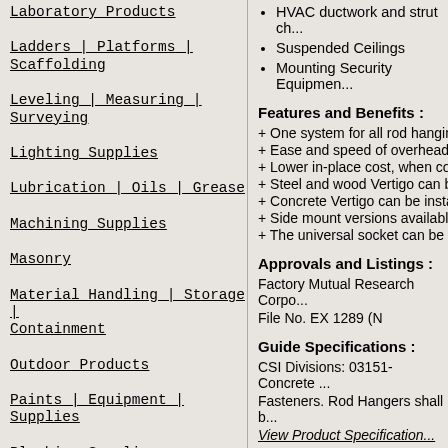Laboratory Products
Ladders | Platforms | Scaffolding
Leveling | Measuring | Surveying
Lighting Supplies
Lubrication | Oils | Grease
Machining Supplies
Masonry
Material Handling | Storage | Containment
Outdoor Products
Paints | Equipment | Supplies
Plumbing Supplies
Power Tool Accessories
Power Tools
Power Transmission Products
Process & Shop Equipment
HVAC ductwork and strut ch...
Suspended Ceilings
Mounting Security Equipmen...
Features and Benefits :
+ One system for all rod hangin...
+ Ease and speed of overhead ...
+ Lower in-place cost, when co...
+ Steel and wood Vertigo can b...
+ Concrete Vertigo can be insta...
+ Side mount versions available...
+ The universal socket can be u...
Approvals and Listings :
Factory Mutual Research Corpo...
File No. EX 1289 (N
Guide Specifications :
CSI Divisions: 03151-Concrete ...
Fasteners. Rod Hangers shall b...
View Product Specification...